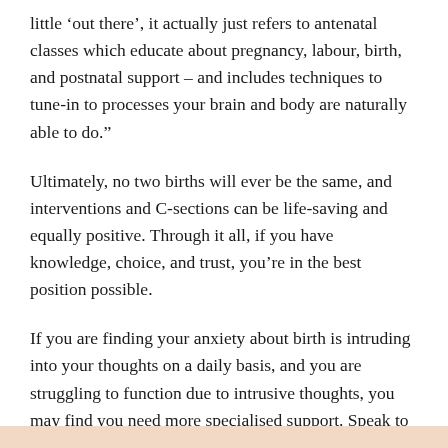little ‘out there’, it actually just refers to antenatal classes which educate about pregnancy, labour, birth, and postnatal support – and includes techniques to tune-in to processes your brain and body are naturally able to do.”
Ultimately, no two births will ever be the same, and interventions and C-sections can be life-saving and equally positive. Through it all, if you have knowledge, choice, and trust, you’re in the best position possible.
If you are finding your anxiety about birth is intruding into your thoughts on a daily basis, and you are struggling to function due to intrusive thoughts, you may find you need more specialised support. Speak to your midwife or GP, and explore how talking therapies can help.